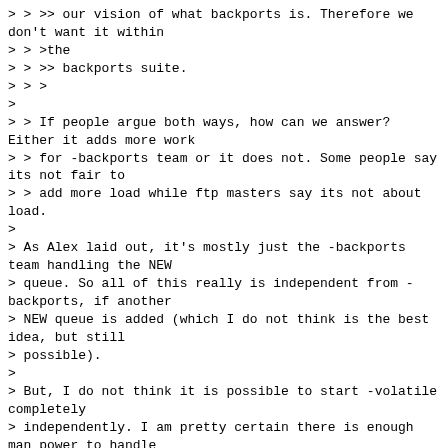> > >> our vision of what backports is. Therefore we don't want it within
> > >the
> > >> backports suite.
> > >
>
> > If people argue both ways, how can we answer? Either it adds more work
> > for -backports team or it does not. Some people say its not fair to
> > add more load while ftp masters say its not about load.
>
> As Alex laid out, it's mostly just the -backports team handling the NEW
> queue. So all of this really is independent from -backports, if another
> NEW queue is added (which I do not think is the best idea, but still
> possible).
>
> But, I do not think it is possible to start -volatile completely
> independently. I am pretty certain there is enough man power to handle
> it as a new suite, but on the other hand I am also certain there is not
> enough manpower to operate a compelte set of seperate services for it.
as said, we are also guests on the ftpmaster services.